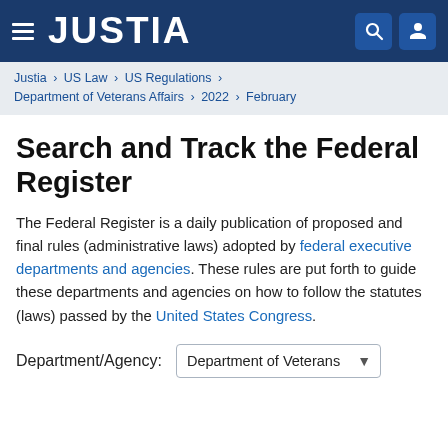JUSTIA
Justia › US Law › US Regulations › Department of Veterans Affairs › 2022 › February
Search and Track the Federal Register
The Federal Register is a daily publication of proposed and final rules (administrative laws) adopted by federal executive departments and agencies. These rules are put forth to guide these departments and agencies on how to follow the statutes (laws) passed by the United States Congress.
Department/Agency: Department of Veterans Affairs